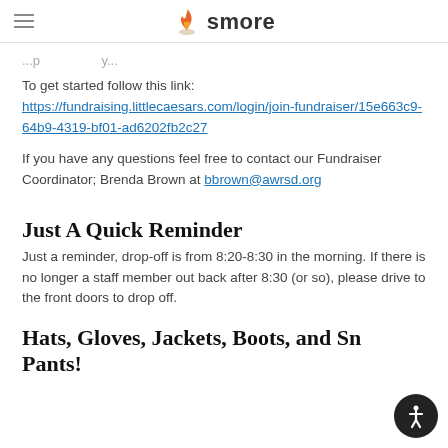smore
...partially visible text...
To get started follow this link:
https://fundraising.littlecaesars.com/login/join-fundraiser/15e663c9-64b9-4319-bf01-ad6202fb2c27
If you have any questions feel free to contact our Fundraiser Coordinator; Brenda Brown at bbrown@awrsd.org
Just A Quick Reminder
Just a reminder, drop-off is from 8:20-8:30 in the morning. If there is no longer a staff member out back after 8:30 (or so), please drive to the front doors to drop off.
Hats, Gloves, Jackets, Boots, and Snow Pants!